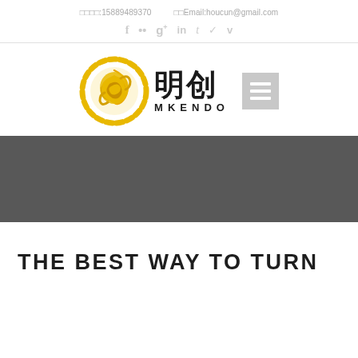联系电话:15889489370  联系Email:houcun@gmail.com
[Figure (logo): MKENDO logo with golden circular dragon emblem, Chinese characters 明创, and text MKENDO, plus hamburger menu icon]
[Figure (photo): Dark grey banner/hero image area]
THE BEST WAY TO TURN